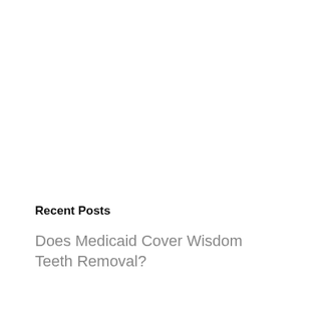Recent Posts
Does Medicaid Cover Wisdom Teeth Removal?